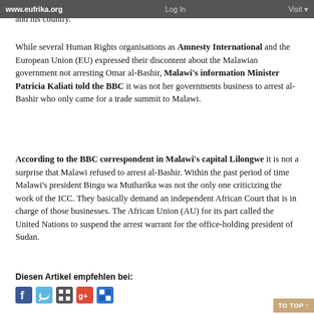www.eufrika.org  Log In  Visit
reproaches and calls that warrant a conspiracy of the Western World against him and his country.
While several Human Rights organisations as Amnesty International and the European Union (EU) expressed their discontent about the Malawian government not arresting Omar al-Bashir, Malawi's information Minister Patricia Kaliati told the BBC it was not her governments business to arrest al-Bashir who only came for a trade summit to Malawi.
According to the BBC correspondent in Malawi's capital Lilongwe it is not a surprise that Malawi refused to arrest al-Bashir. Within the past period of time Malawi's president Bingu wa Mutharika was not the only one criticizing the work of the ICC. They basically demand an independent African Court that is in charge of those businesses. The African Union (AU) for its part called the United Nations to suspend the arrest warrant for the office-holding president of Sudan.
Diesen Artikel empfehlen bei:
[Figure (other): Social media share icons: Facebook, Twitter, some other icon, Google+, Delicious]